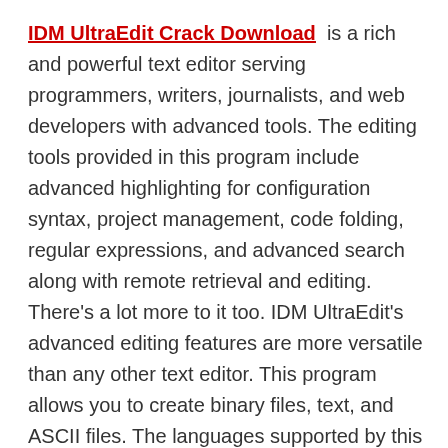IDM UltraEdit Crack Download is a rich and powerful text editor serving programmers, writers, journalists, and web developers with advanced tools. The editing tools provided in this program include advanced highlighting for configuration syntax, project management, code folding, regular expressions, and advanced search along with remote retrieval and editing. There's a lot more to it too. IDM UltraEdit's advanced editing features are more versatile than any other text editor. This program allows you to create binary files, text, and ASCII files. The languages supported by this program are HTML, PHP, JavaScript, Java, C ++, C #, Python, Visual Basic, etc.
Key Features: